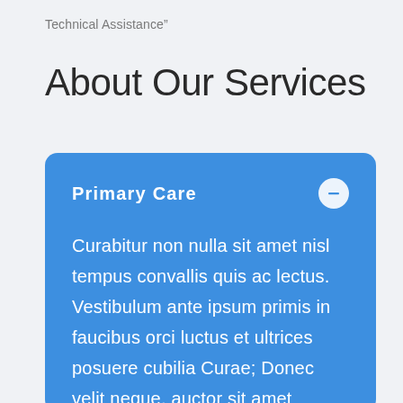Technical Assistance"
About Our Services
Primary Care
Curabitur non nulla sit amet nisl tempus convallis quis ac lectus. Vestibulum ante ipsum primis in faucibus orci luctus et ultrices posuere cubilia Curae; Donec velit neque, auctor sit amet aliquam vel, ullamcorper sit amet ligula. Cras